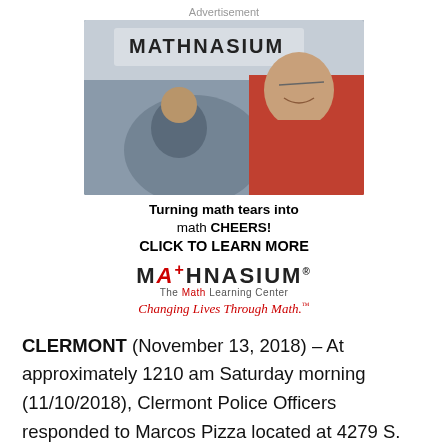Advertisement
[Figure (photo): Photo of a smiling teenager in a red shirt looking out a car window, with the Mathnasium storefront sign visible in the background through the glass.]
Turning math tears into math CHEERS!
CLICK TO LEARN MORE
[Figure (logo): Mathnasium logo — The Math Learning Center. Text: MATHNASIUM with a stylized red A+ and The Math Learning Center below.]
Changing Lives Through Math.™
CLERMONT (November 13, 2018) – At approximately 1210 am Saturday morning (11/10/2018), Clermont Police Officers responded to Marcos Pizza located at 4279 S. Highway 27,